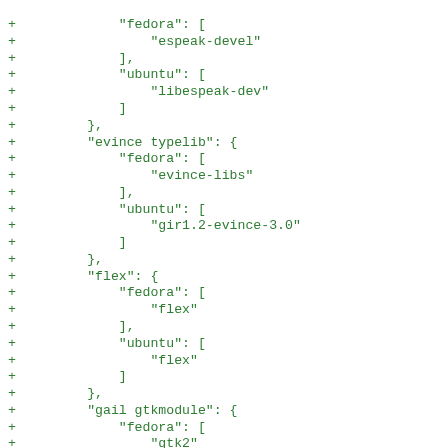+             "fedora": [
+                 "espeak-devel"
+             ],
+             "ubuntu": [
+                 "libespeak-dev"
+             ]
+         },
+         "evince typelib": {
+             "fedora": [
+                 "evince-libs"
+             ],
+             "ubuntu": [
+                 "gir1.2-evince-3.0"
+             ]
+         },
+         "flex": {
+             "fedora": [
+                 "flex"
+             ],
+             "ubuntu": [
+                 "flex"
+             ]
+         },
+         "gail gtkmodule": {
+             "fedora": [
+                 "gtk2"
+             ],
+             "ubuntu": [
+                 "libgail-common"
+             ]